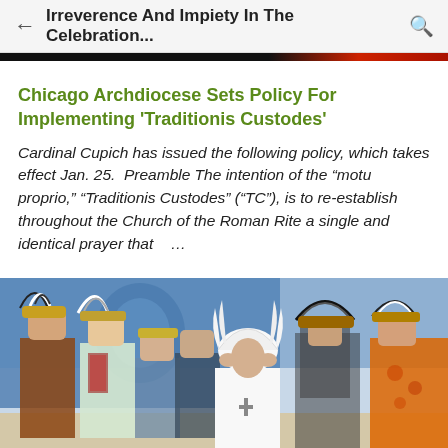Irreverence And Impiety In The Celebration...
Chicago Archdiocese Sets Policy For Implementing 'Traditionis Custodes'
Cardinal Cupich has issued the following policy, which takes effect Jan. 25.  Preamble The intention of the "motu proprio," "Traditionis Custodes" ("TC"), is to re-establish throughout the Church of the Roman Rite a single and identical prayer that ...
[Figure (photo): Group of people including a figure in white papal vestments and white feathered headdress surrounded by Indigenous people in traditional regalia including feathered headdresses and colorful dress]